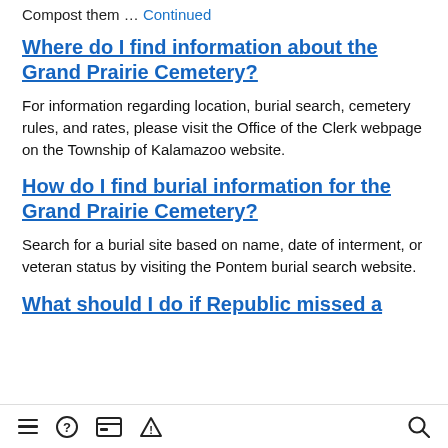Compost them … Continued
Where do I find information about the Grand Prairie Cemetery?
For information regarding location, burial search, cemetery rules, and rates, please visit the Office of the Clerk webpage on the Township of Kalamazoo website.
How do I find burial information for the Grand Prairie Cemetery?
Search for a burial site based on name, date of interment, or veteran status by visiting the Pontem burial search website.
What should I do if Republic missed a
Navigation bar with menu, help, payment, alert, and search icons